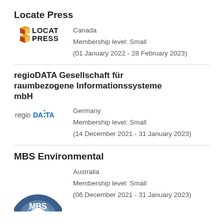Locate Press
[Figure (logo): Locate Press logo with stylized diamond/cube icon]
Canada
Membership level: Small
(01 January 2022 - 28 February 2023)
regioDATA Gesellschaft für raumbezogene Informationssysteme mbH
[Figure (logo): regioDATA logo with blue DATA text and dot pattern]
Germany
Membership level: Small
(14 December 2021 - 31 January 2023)
MBS Environmental
[Figure (logo): MBS Environmental logo with blue arc shapes and MBS text]
Australia
Membership level: Small
(06 December 2021 - 31 January 2023)